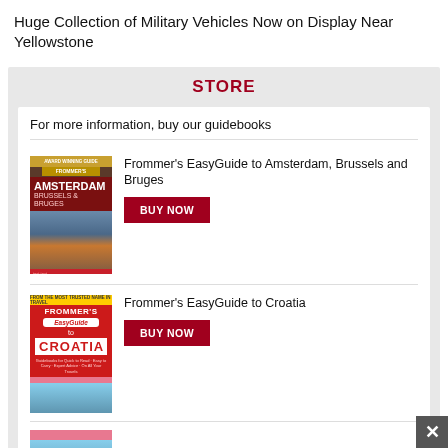Huge Collection of Military Vehicles Now on Display Near Yellowstone
STORE
For more information, buy our guidebooks
Frommer's EasyGuide to Amsterdam, Brussels and Bruges
BUY NOW
Frommer's EasyGuide to Croatia
BUY NOW